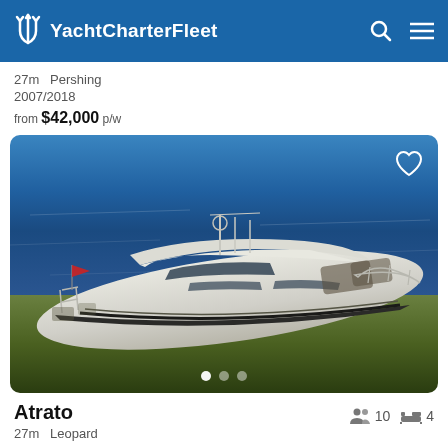YachtCharterFleet
27m  Pershing
2007/2018
from $42,000 p/w
[Figure (photo): Aerial view of a white luxury motor yacht (Atrato, 27m Leopard) on blue water, viewed from above and slightly to the side, with a small red flag at the stern.]
Atrato
27m  Leopard
10 guests, 4 cabins